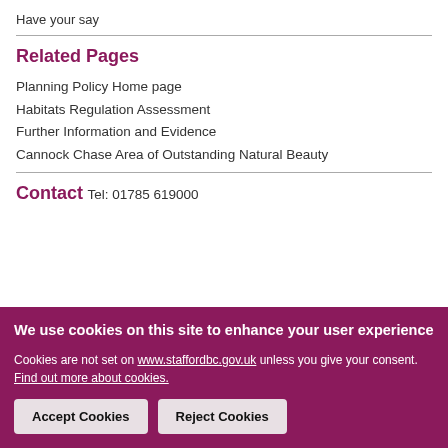Have your say
Related Pages
Planning Policy Home page
Habitats Regulation Assessment
Further Information and Evidence
Cannock Chase Area of Outstanding Natural Beauty
Contact
Tel: 01785 619000
We use cookies on this site to enhance your user experience

Cookies are not set on www.staffordbc.gov.uk unless you give your consent. Find out more about cookies.